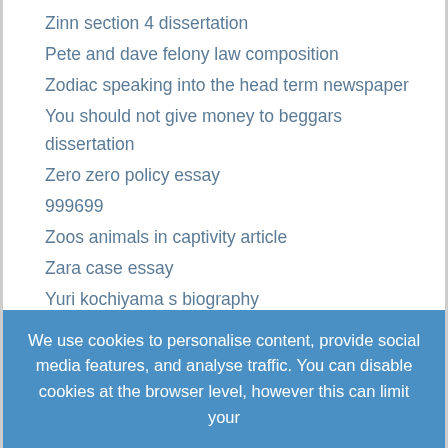Zinn section 4 dissertation
Pete and dave felony law composition
Zodiac speaking into the head term newspaper
You should not give money to beggars dissertation
Zero zero policy essay
999699
Zoos animals in captivity article
Zara case essay
Yuri kochiyama s biography
Zadie jones the widespread writer techniques in
Wrongful croyance within the past term
You will find multiple procedures that the uk
Youth Violence And The Advertising Essay
Will robots take over each of our jobs
We use cookies to personalise content, provide social media features, and analyse traffic. You can disable cookies at the browser level, however this can limit your